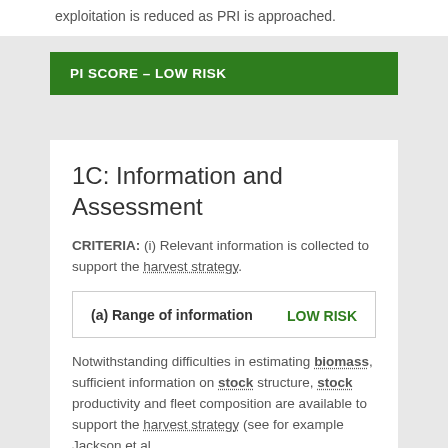exploitation is reduced as PRI is approached.
PI SCORE – LOW RISK
1C: Information and Assessment
CRITERIA: (i) Relevant information is collected to support the harvest strategy.
| (a) Range of information | LOW RISK |
| --- | --- |
Notwithstanding difficulties in estimating biomass, sufficient information on stock structure, stock productivity and fleet composition are available to support the harvest strategy (see for example Jackson et al